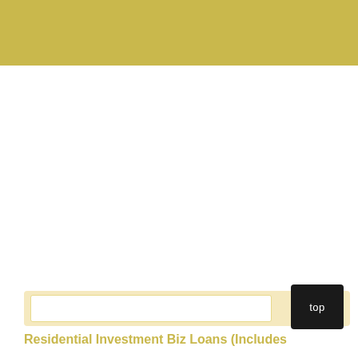[Figure (other): Gold/tan colored header banner at the top of the page]
top
Residential Investment Biz Loans (Includes